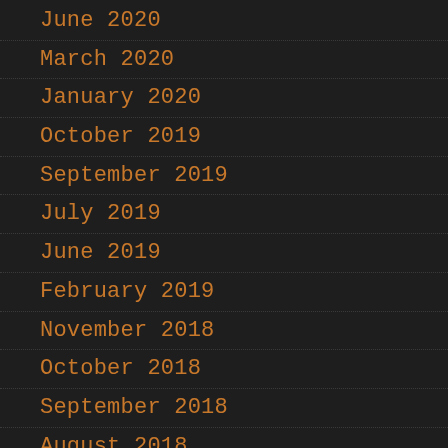June 2020
March 2020
January 2020
October 2019
September 2019
July 2019
June 2019
February 2019
November 2018
October 2018
September 2018
August 2018
May 2018
March 2018
February 2018
January 2018